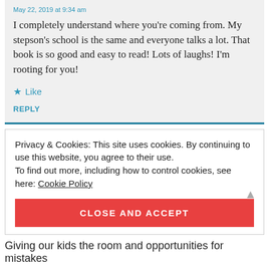May 22, 2019 at 9:34 am
I completely understand where you're coming from. My stepson's school is the same and everyone talks a lot. That book is so good and easy to read! Lots of laughs! I'm rooting for you!
★ Like
REPLY
Privacy & Cookies: This site uses cookies. By continuing to use this website, you agree to their use. To find out more, including how to control cookies, see here: Cookie Policy
CLOSE AND ACCEPT
Giving our kids the room and opportunities for mistakes